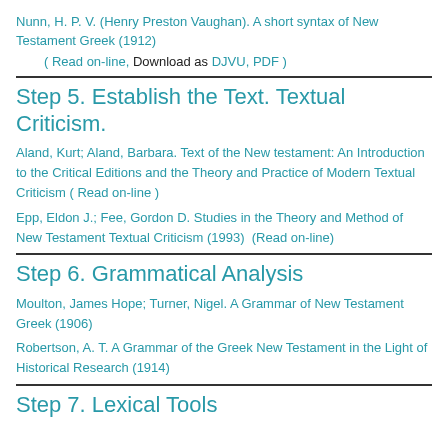Nunn, H. P. V. (Henry Preston Vaughan). A short syntax of New Testament Greek (1912)
( Read on-line, Download as DJVU, PDF )
Step 5. Establish the Text. Textual Criticism.
Aland, Kurt; Aland, Barbara. Text of the New testament: An Introduction to the Critical Editions and the Theory and Practice of Modern Textual Criticism ( Read on-line )
Epp, Eldon J.; Fee, Gordon D. Studies in the Theory and Method of New Testament Textual Criticism (1993)  (Read on-line)
Step 6. Grammatical Analysis
Moulton, James Hope; Turner, Nigel. A Grammar of New Testament Greek (1906)
Robertson, A. T. A Grammar of the Greek New Testament in the Light of Historical Research (1914)
Step 7. Lexical Tools